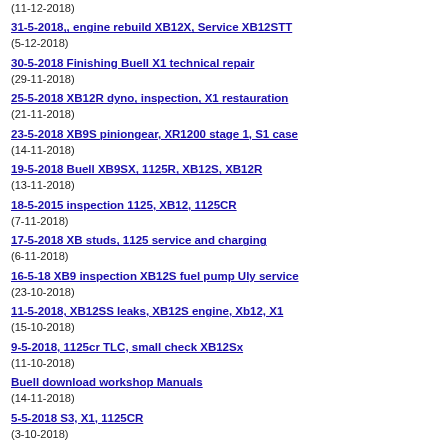(11-12-2018)
31-5-2018,, engine rebuild XB12X, Service XB12STT
(5-12-2018)
30-5-2018 Finishing Buell X1 technical repair
(29-11-2018)
25-5-2018 XB12R dyno, inspection, X1 restauration
(21-11-2018)
23-5-2018 XB9S piniongear, XR1200 stage 1, S1 case
(14-11-2018)
19-5-2018 Buell XB9SX, 1125R, XB12S, XB12R
(13-11-2018)
18-5-2015 inspection 1125, XB12, 1125CR
(7-11-2018)
17-5-2018 XB studs, 1125 service and charging
(6-11-2018)
16-5-18 XB9 inspection XB12S fuel pump Uly service
(23-10-2018)
11-5-2018, XB12SS leaks, XB12S engine, Xb12, X1
(15-10-2018)
9-5-2018, 1125cr TLC, small check XB12Sx
(11-10-2018)
Buell download workshop Manuals
(14-11-2018)
5-5-2018 S3, X1, 1125CR
(3-10-2018)
Buell XB rear caliper, repair kit
(26-2-2019)